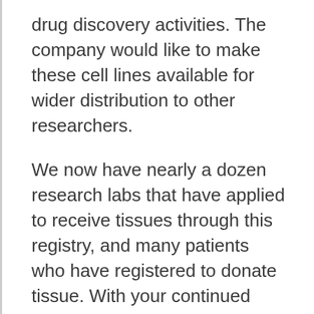drug discovery activities. The company would like to make these cell lines available for wider distribution to other researchers.
We now have nearly a dozen research labs that have applied to receive tissues through this registry, and many patients who have registered to donate tissue. With your continued support, we will be able to deliver their invaluable donated tissues to the world's leading FSHD researchers. Thank you!